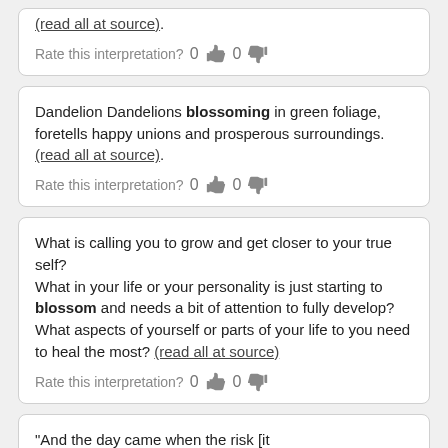(read all at source).
Rate this interpretation? 0  0
Dandelion Dandelions blossoming in green foliage, foretells happy unions and prosperous surroundings. (read all at source).
Rate this interpretation? 0  0
What is calling you to grow and get closer to your true self? What in your life or your personality is just starting to blossom and needs a bit of attention to fully develop? What aspects of yourself or parts of your life to you need to heal the most? (read all at source)
Rate this interpretation? 0  0
"And the day came when the risk [it